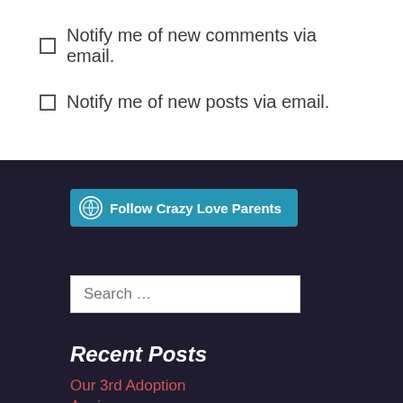Notify me of new comments via email.
Notify me of new posts via email.
Follow Crazy Love Parents
Search ...
Recent Posts
Our 3rd Adoption Anniversary